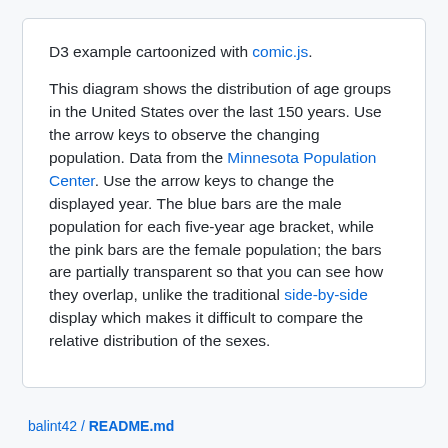D3 example cartoonized with comic.js. This diagram shows the distribution of age groups in the United States over the last 150 years. Use the arrow keys to observe the changing population. Data from the Minnesota Population Center. Use the arrow keys to change the displayed year. The blue bars are the male population for each five-year age bracket, while the pink bars are the female population; the bars are partially transparent so that you can see how they overlap, unlike the traditional side-by-side display which makes it difficult to compare the relative distribution of the sexes.
balint42 / README.md